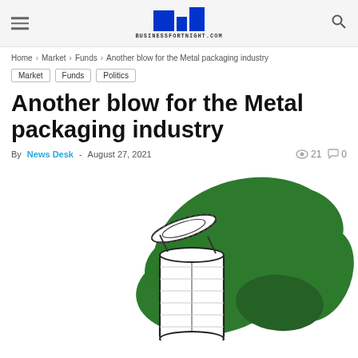BUSINESSFORTNIGHT.COM
Home > Market > Funds > Another blow for the Metal packaging industry
Market
Funds
Politics
Another blow for the Metal packaging industry
By News Desk - August 27, 2021   21   0
[Figure (illustration): Illustration of an open metal can with a partially detached lid, overlaid on a green splash/paint stroke background. Black and white line drawing style.]